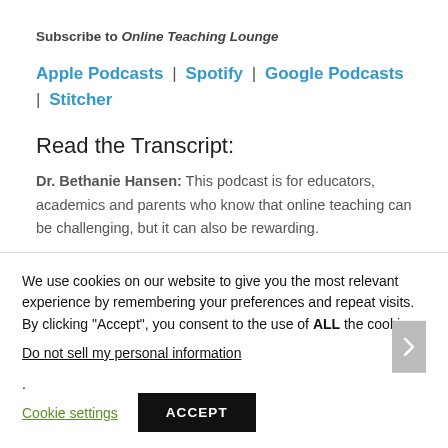Subscribe to Online Teaching Lounge
Apple Podcasts | Spotify | Google Podcasts | Stitcher
Read the Transcript:
Dr. Bethanie Hansen: This podcast is for educators, academics and parents who know that online teaching can be challenging, but it can also be rewarding.
We use cookies on our website to give you the most relevant experience by remembering your preferences and repeat visits. By clicking “Accept”, you consent to the use of ALL the cookies.
Do not sell my personal information.
Cookie settings
ACCEPT